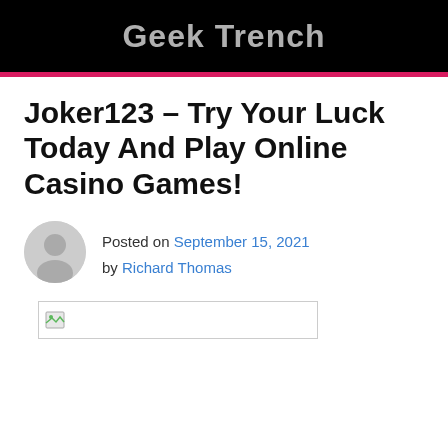Geek Trench
Joker123 – Try Your Luck Today And Play Online Casino Games!
Posted on September 15, 2021 by Richard Thomas
[Figure (other): Broken image placeholder with small icon in a rectangular box]